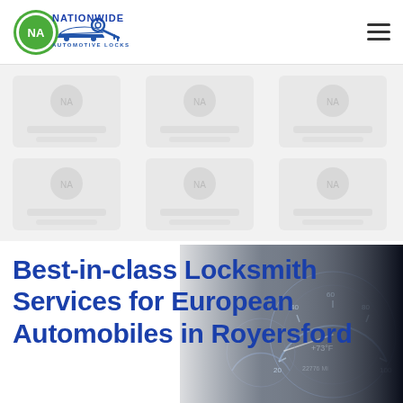[Figure (logo): Nationwide Automotive Locksmith logo: green circle with NA initials and a key/car graphic, with blue text NATIONWIDE AUTOMOTIVE LOCKSMITH]
[Figure (other): Grid of faint background icons/images representing locksmith services for various car brands, arranged in a 3x2 grid on light gray background]
Best-in-class Locksmith Services for European Automobiles in Royersford
[Figure (photo): Close-up photo of a European car dashboard/instrument cluster showing speedometer and gauges, partially visible behind the blue heading text on the right side]